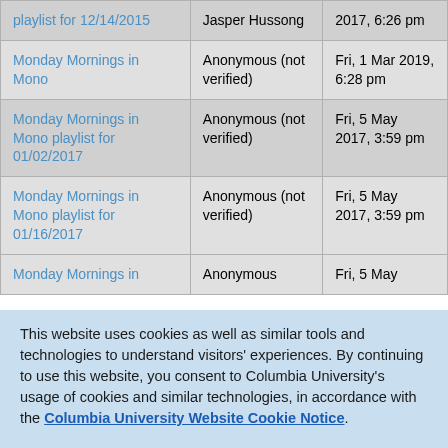| Title | Author | Date |
| --- | --- | --- |
| [Monday Mornings in Mono] playlist for 12/14/2015 | Jasper Hussong | [date truncated] 2017, 6:26 pm |
| Monday Mornings in Mono | Anonymous (not verified) | Fri, 1 Mar 2019, 6:28 pm |
| Monday Mornings in Mono playlist for 01/02/2017 | Anonymous (not verified) | Fri, 5 May 2017, 3:59 pm |
| Monday Mornings in Mono playlist for 01/16/2017 | Anonymous (not verified) | Fri, 5 May 2017, 3:59 pm |
| Monday Mornings in [partial] | Anonymous | Fri, 5 May |
This website uses cookies as well as similar tools and technologies to understand visitors' experiences. By continuing to use this website, you consent to Columbia University's usage of cookies and similar technologies, in accordance with the Columbia University Website Cookie Notice.